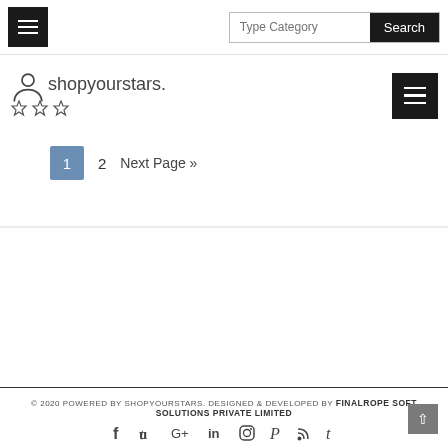Navigation bar with hamburger menu and search bar with 'Type Category' placeholder and 'Search' button
[Figure (logo): shopyourstars. logo with person icon and three stars]
1  2  Next Page »
© 2020 POWERED BY SHOPYOURSTARS. DESIGNED & DEVELOPED BY FINALROPE SOFT SOLUTIONS PRIVATE LIMITED
[Figure (infographic): Social media icons: Facebook, Twitter, Google+, LinkedIn, Instagram, Pinterest, RSS, Tumblr]